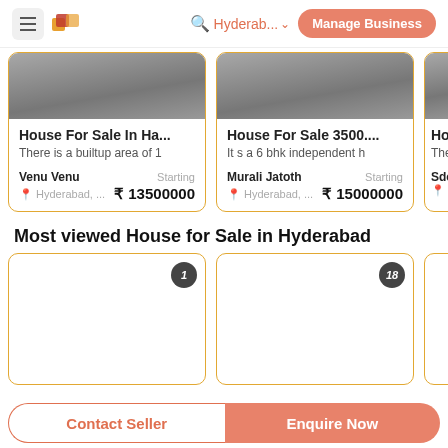Hyderab... | Manage Business
[Figure (screenshot): House listing card: House For Sale In Ha..., There is a builtup area of 1, Venu Venu, Hyderabad, Starting ₹ 13500000]
[Figure (screenshot): House listing card: House For Sale 3500..., It s a 6 bhk independent h, Murali Jatoth, Hyderabad, Starting ₹ 15000000]
[Figure (screenshot): Partial house listing card (Hou, The, Sdc, Hy)]
Most viewed House for Sale in Hyderabad
[Figure (screenshot): Most viewed listing card 1 with badge '1']
[Figure (screenshot): Most viewed listing card with badge '18']
[Figure (screenshot): Partial most viewed listing card]
Contact Seller | Enquire Now